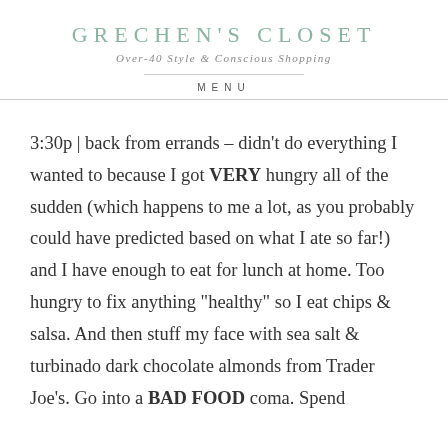GRECHEN'S CLOSET
Over-40 Style & Conscious Shopping
MENU
3:30p | back from errands – didn't do everything I wanted to because I got VERY hungry all of the sudden (which happens to me a lot, as you probably could have predicted based on what I ate so far!) and I have enough to eat for lunch at home. Too hungry to fix anything “healthy” so I eat chips & salsa. And then stuff my face with sea salt & turbinado dark chocolate almonds from Trader Joe's. Go into a BAD FOOD coma. Spend